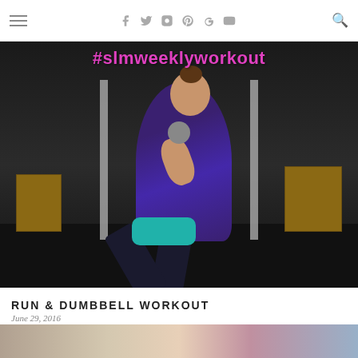≡ [social icons: facebook, twitter, instagram, pinterest, google+, youtube] [search icon]
[Figure (photo): Woman doing a lunge exercise in a gym, holding a weight at her chest. She is wearing a purple tank top and teal shorts. A #slmweeklyworkout hashtag overlay appears at the top of the image. Wooden plyometric boxes and pull-up rig are visible in the background on a black rubber floor.]
RUN & DUMBBELL WORKOUT
June 29, 2016
[Figure (photo): Partial view of a second article image at the bottom of the page, cut off.]